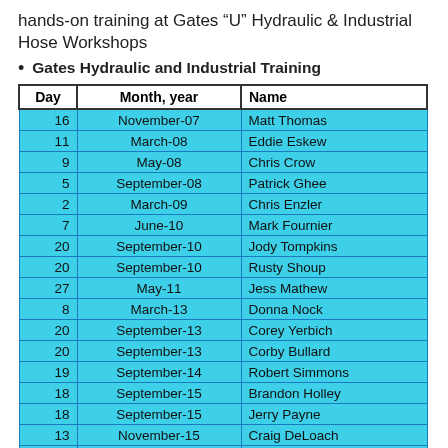hands-on training at Gates “U” Hydraulic & Industrial Hose Workshops
Gates Hydraulic and Industrial Training
| Day | Month, year | Name |
| --- | --- | --- |
| 16 | November-07 | Matt Thomas |
| 11 | March-08 | Eddie Eskew |
| 9 | May-08 | Chris Crow |
| 5 | September-08 | Patrick Ghee |
| 2 | March-09 | Chris Enzler |
| 7 | June-10 | Mark Fournier |
| 20 | September-10 | Jody Tompkins |
| 20 | September-10 | Rusty Shoup |
| 27 | May-11 | Jess Mathew |
| 8 | March-13 | Donna Nock |
| 20 | September-13 | Corey Yerbich |
| 20 | September-13 | Corby Bullard |
| 19 | September-14 | Robert Simmons |
| 18 | September-15 | Brandon Holley |
| 18 | September-15 | Jerry Payne |
| 13 | November-15 | Craig DeLoach |
| 13 | November-15 | Rick Williams |
|  |  | Chip Best |